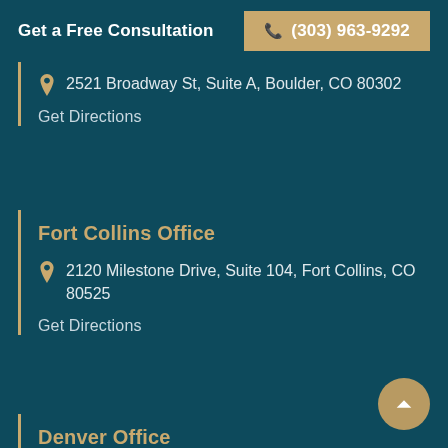Get a Free Consultation  ☎ (303) 963-9292
2521 Broadway St, Suite A, Boulder, CO 80302
Get Directions
Fort Collins Office
2120 Milestone Drive, Suite 104, Fort Collins, CO 80525
Get Directions
Denver Office